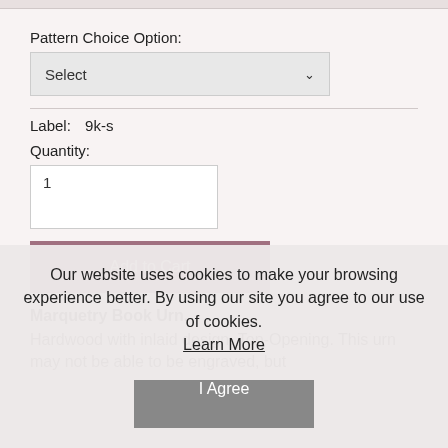Pattern Choice Option:
Select
Label:  9k-s
Quantity:
1
Add to Cart
Marquetry Book Urn. Hardwood with inlaid design. Top-Opening. This urn may not be able to be engraved, but
Our website uses cookies to make your browsing experience better. By using our site you agree to our use of cookies. Learn More
I Agree